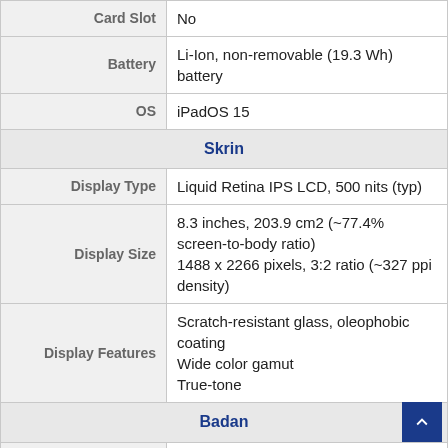| Spec | Value |
| --- | --- |
| Card Slot | No |
| Battery | Li-Ion, non-removable (19.3 Wh) battery |
| OS | iPadOS 15 |
| Skrin |  |
| Display Type | Liquid Retina IPS LCD, 500 nits (typ) |
| Display Size | 8.3 inches, 203.9 cm2 (~77.4% screen-to-body ratio)
1488 x 2266 pixels, 3:2 ratio (~327 ppi density) |
| Display Features | Scratch-resistant glass, oleophobic coating
Wide color gamut
True-tone |
| Badan |  |
| Body Dimension | 195.4 x 134.8 x 6.3 mm |
| Body Weight | 297g |
| Body Type | Glass front, aluminum back, aluminum frame |